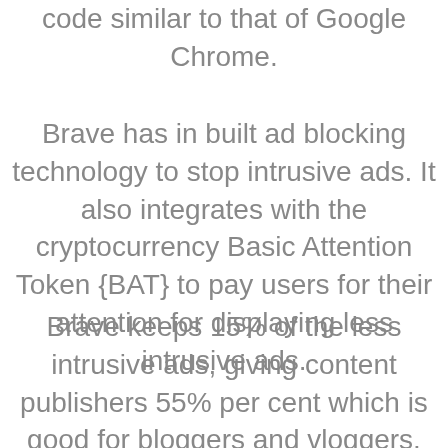code similar to that of Google Chrome.
Brave has in built ad blocking technology to stop intrusive ads. It also integrates with the cryptocurrency Basic Attention Token {BAT} to pay users for their attention for displaying less intrusive ads.
Brave keeps 15% of the less intrusive ads, giving content publishers 55% per cent which is good for bloggers and vloggers. last but not lease even